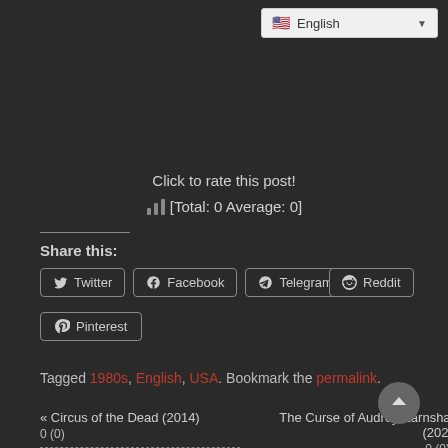[Figure (screenshot): Language selector dropdown showing English with US flag]
Click to rate this post!
[Total: 0 Average: 0]
Share this:
Twitter
Facebook
Telegram
Reddit
Pinterest
Tagged 1980s, English, USA. Bookmark the permalink.
« Circus of the Dead (2014)
0 (0)
The Curse of Audrey Earnshaw (2020)
0 (0) »